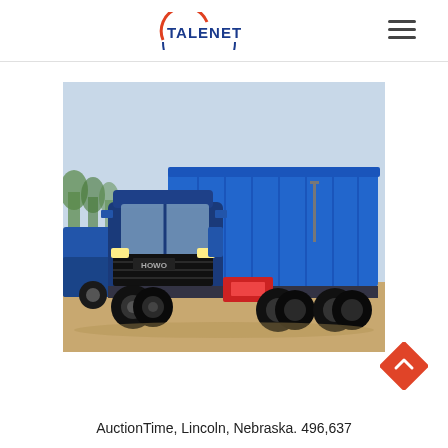TALENET
[Figure (photo): Blue HOWO dump truck (8x4) parked on dirt/gravel surface with trees and open area in background. A second partial blue truck is visible on the left side of the image.]
AuctionTime, Lincoln, Nebraska. 496,637